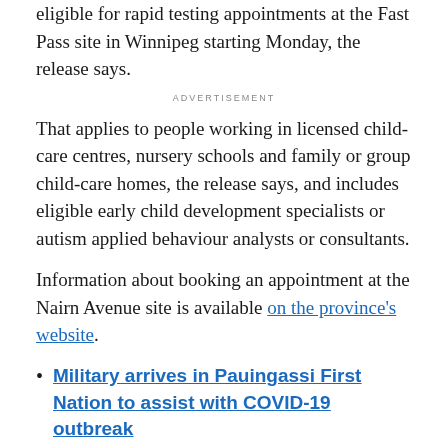eligible for rapid testing appointments at the Fast Pass site in Winnipeg starting Monday, the release says.
ADVERTISEMENT
That applies to people working in licensed child-care centres, nursery schools and family or group child-care homes, the release says, and includes eligible early child development specialists or autism applied behaviour analysts or consultants.
Information about booking an appointment at the Nairn Avenue site is available on the province's website.
Military arrives in Pauingassi First Nation to assist with COVID-19 outbreak